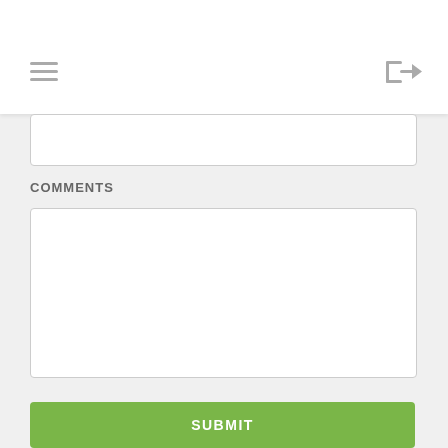[Figure (screenshot): Mobile app UI screenshot showing a hamburger menu icon on the top left and a login arrow icon on the top right in a white header bar]
[Figure (screenshot): Input text field (partially visible, cut off at top) on a grey background]
COMMENTS
[Figure (screenshot): Empty textarea/comments input box with white background and light grey border]
[Figure (screenshot): Green SUBMIT button at the bottom of the form]